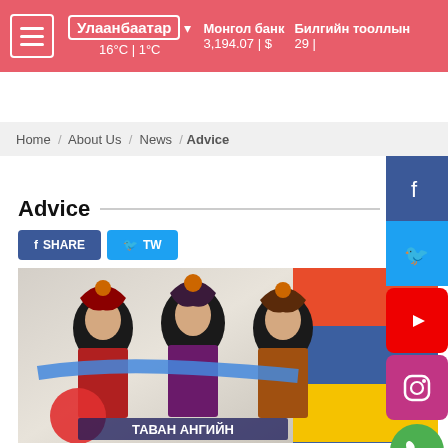Улаанбаатар ▾  16°C | 1°C  |  Монгол банк 3,194.07 | $  |  Билгийн тооллын 29 |
Home / About Us / News / Advice
Advice
f SHARE   🐦 TW
[Figure (photo): Three Mongolian women in traditional colorful costumes holding a blue sash, with the text ТАВАН АНГИЙН at the bottom. A Mongolian flag is partially visible on the right.]